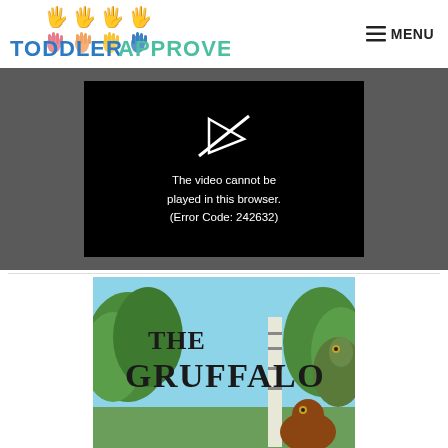[Figure (logo): Toddler Approved logo with colorful hand icons and teal/blue text]
[Figure (screenshot): Video player showing error: The video cannot be played in this browser. (Error Code: 242632)]
[Figure (photo): The Gruffalo book cover with illustrated forest scene and title text]